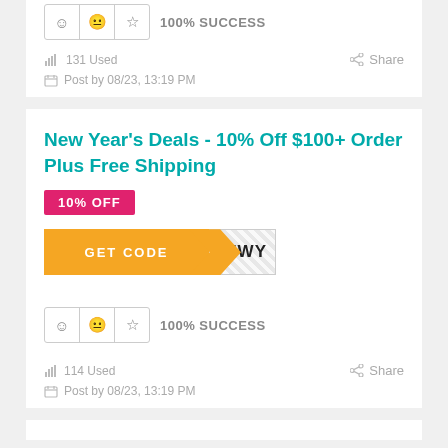100% SUCCESS
131 Used
Share
Post by 08/23, 13:19 PM
New Year's Deals - 10% Off $100+ Order Plus Free Shipping
10% OFF
GET CODE NEWY
100% SUCCESS
114 Used
Share
Post by 08/23, 13:19 PM